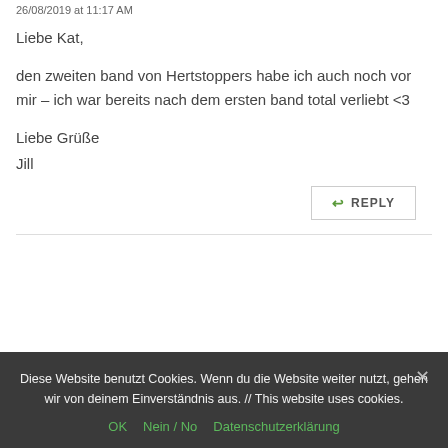26/08/2019 at 11:17 AM
Liebe Kat,

den zweiten band von Hertstoppers habe ich auch noch vor mir – ich war bereits nach dem ersten band total verliebt <3

Liebe Grüße
Jill
REPLY
Diese Website benutzt Cookies. Wenn du die Website weiter nutzt, gehen wir von deinem Einverständnis aus. // This website uses cookies.

OK   Nein / No   Datenschutzerklärung